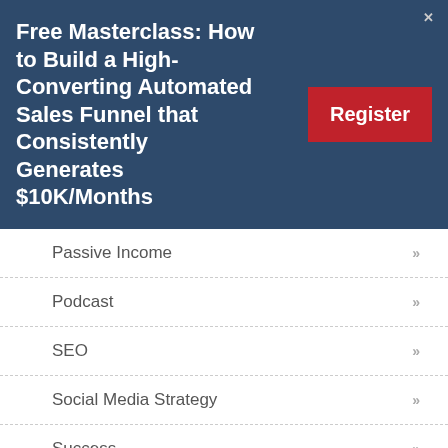Free Masterclass: How to Build a High-Converting Automated Sales Funnel that Consistently Generates $10K/Months
Register
Passive Income »
Podcast »
SEO »
Social Media Strategy »
Success »
Tech »
Transcript »
Uncategorized »